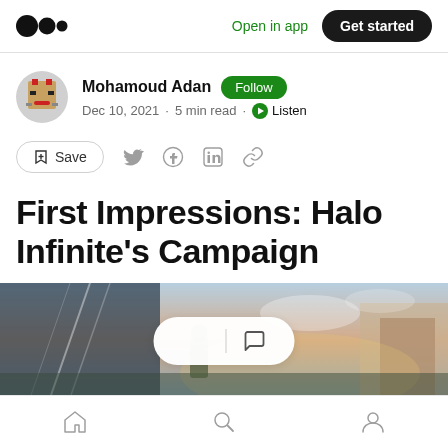Medium logo | Open in app | Get started
Mohamoud Adan · Follow · Dec 10, 2021 · 5 min read · Listen
Save (action bar with social share icons)
First Impressions: Halo Infinite's Campaign
[Figure (screenshot): Halo Infinite game screenshot with clap/comment overlay bar]
Home | Search | Profile (bottom navigation)